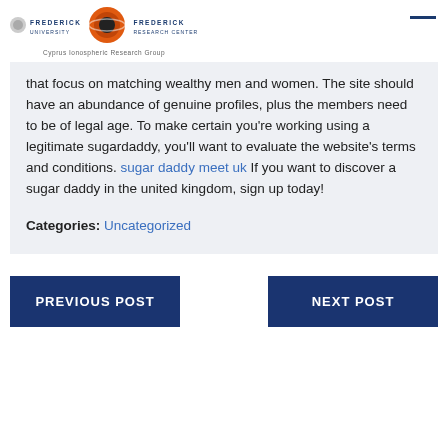Frederick University | Frederick Research Center | Cyprus Ionospheric Research Group
that focus on matching wealthy men and women. The site should have an abundance of genuine profiles, plus the members need to be of legal age. To make certain you’re working using a legitimate sugardaddy, you’ll want to evaluate the website’s terms and conditions. sugar daddy meet uk If you want to discover a sugar daddy in the united kingdom, sign up today!
Categories: Uncategorized
PREVIOUS POST
NEXT POST